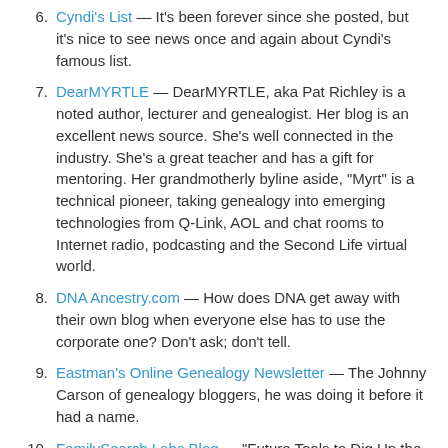Cyndi's List — It's been forever since she posted, but it's nice to see news once and again about Cyndi's famous list.
DearMYRTLE — DearMYRTLE, aka Pat Richley is a noted author, lecturer and genealogist. Her blog is an excellent news source. She's well connected in the industry. She's a great teacher and has a gift for mentoring. Her grandmotherly byline aside, "Myrt" is a technical pioneer, taking genealogy into emerging technologies from Q-Link, AOL and chat rooms to Internet radio, podcasting and the Second Life virtual world.
DNA Ancestry.com — How does DNA get away with their own blog when everyone else has to use the corporate one? Don't ask; don't tell.
Eastman's Online Genealogy Newsletter — The Johnny Carson of genealogy bloggers, he was doing it before it had a name.
FamilySearch Labs Blog — "Future Tools to Dig Up the Past." Official FamilySearch blog.